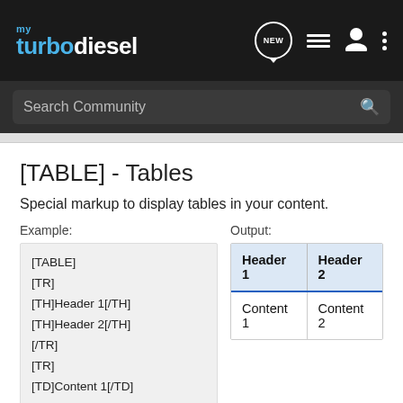my turbodiesel — navigation bar with NEW, list, user, and menu icons
Search Community
[TABLE] - Tables
Special markup to display tables in your content.
Example:
[TABLE]
[TR]
[TH]Header 1[/TH]
[TH]Header 2[/TH]
[/TR]
[TR]
[TD]Content 1[/TD]
[TD]Content 2[/TD]
[/TR]
[/TABLE]
Output:
| Header 1 | Header 2 |
| --- | --- |
| Content 1 | Content 2 |